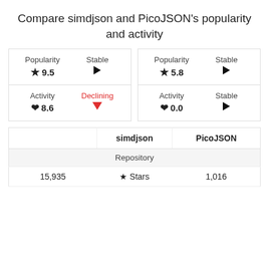Compare simdjson and PicoJSON's popularity and activity
|  | simdjson | PicoJSON |
| --- | --- | --- |
| Repository |  |  |
| 15,935 | ★ Stars | 1,016 |